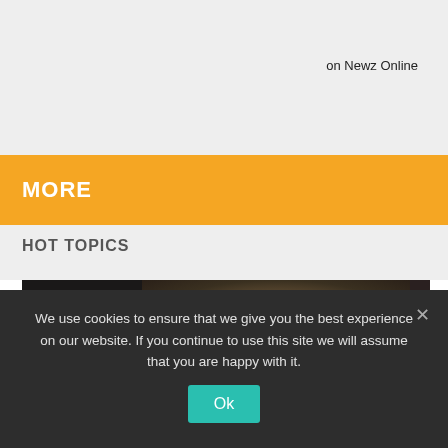on Newz Online
MORE
HOT TOPICS
[Figure (photo): Close-up photo of a person's face, appearing to be a basketball player, with dark background]
We use cookies to ensure that we give you the best experience on our website. If you continue to use this site we will assume that you are happy with it.